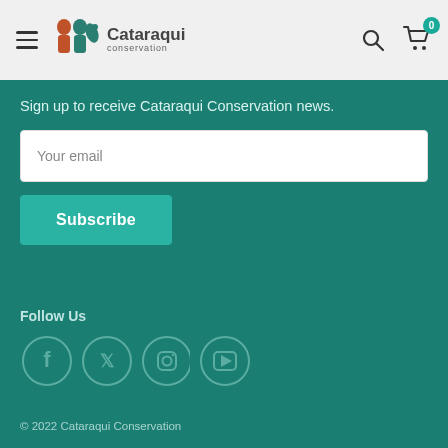Cataraqui Conservation — navigation header with hamburger menu, logo, search icon, and cart (0)
Sign up to receive Cataraqui Conservation news.
Your email
Subscribe
Follow Us
[Figure (illustration): Social media icons: Facebook, Twitter, Instagram, YouTube — circular teal-outlined icons]
© 2022 Cataraqui Conservation